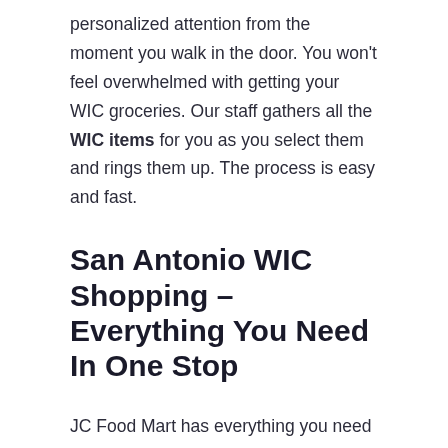personalized attention from the moment you walk in the door. You won't feel overwhelmed with getting your WIC groceries. Our staff gathers all the WIC items for you as you select them and rings them up. The process is easy and fast.
San Antonio WIC Shopping – Everything You Need In One Stop
JC Food Mart has everything you need in one place. You won't have to go from store-to-store looking for everything you need. Visit any of our locations in San Antonio today to find out how easy WIC grocery